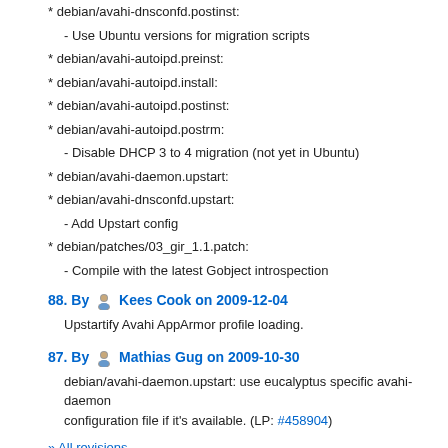* debian/avahi-dnsconfd.postinst:
- Use Ubuntu versions for migration scripts
* debian/avahi-autoipd.preinst:
* debian/avahi-autoipd.install:
* debian/avahi-autoipd.postinst:
* debian/avahi-autoipd.postrm:
- Disable DHCP 3 to 4 migration (not yet in Ubuntu)
* debian/avahi-daemon.upstart:
* debian/avahi-dnsconfd.upstart:
- Add Upstart config
* debian/patches/03_gir_1.1.patch:
- Compile with the latest Gobject introspection
88. By Kees Cook on 2009-12-04
Upstartify Avahi AppArmor profile loading.
87. By Mathias Gug on 2009-10-30
debian/avahi-daemon.upstart: use eucalyptus specific avahi-daemon configuration file if it's available. (LP: #458904)
» All revisions
Branch metadata
Branch format:    Repository format: